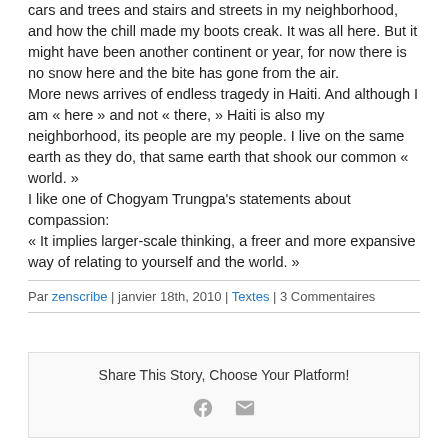cars and trees and stairs and streets in my neighborhood, and how the chill made my boots creak. It was all here. But it might have been another continent or year, for now there is no snow here and the bite has gone from the air.
More news arrives of endless tragedy in Haiti. And although I am « here » and not « there, » Haiti is also my neighborhood, its people are my people. I live on the same earth as they do, that same earth that shook our common « world. »
I like one of Chogyam Trungpa's statements about compassion:
« It implies larger-scale thinking, a freer and more expansive way of relating to yourself and the world. »
Par zenscribe | janvier 18th, 2010 | Textes | 3 Commentaires
Share This Story, Choose Your Platform!